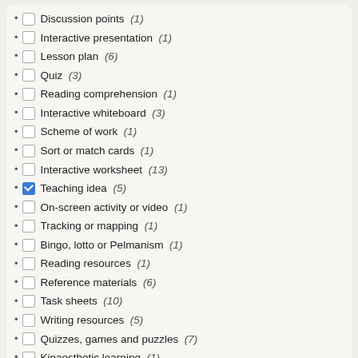Discussion points (1)
Interactive presentation (1)
Lesson plan (6)
Quiz (3)
Reading comprehension (1)
Interactive whiteboard (3)
Scheme of work (1)
Sort or match cards (1)
Interactive worksheet (13)
Teaching idea (5) [checked]
On-screen activity or video (1)
Tracking or mapping (1)
Bingo, lotto or Pelmanism (1)
Reading resources (1)
Reference materials (6)
Task sheets (10)
Writing resources (5)
Quizzes, games and puzzles (7)
Kinaesthetic learning (1)
Long and short term planning (7)
On-screen resources (33)
Oral and aural (1)